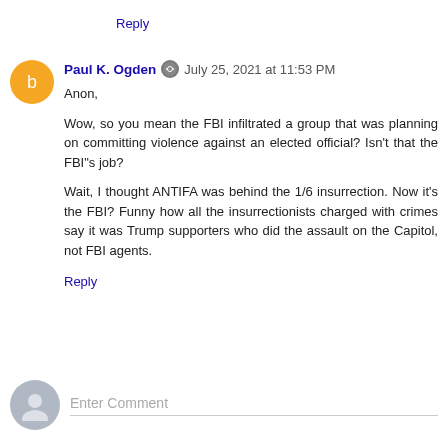Reply
Paul K. Ogden  July 25, 2021 at 11:53 PM
Anon,

Wow, so you mean the FBI infiltrated a group that was planning on committing violence against an elected official? Isn't that the FBI"s job?

Wait, I thought ANTIFA was behind the 1/6 insurrection. Now it's the FBI? Funny how all the insurrectionists charged with crimes say it was Trump supporters who did the assault on the Capitol, not FBI agents.
Reply
Enter Comment